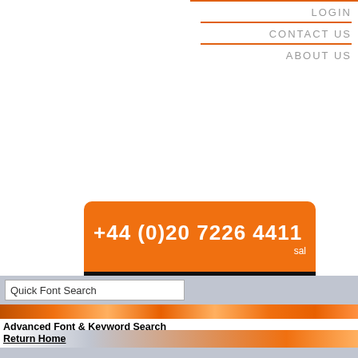LOGIN
CONTACT US
ABOUT US
+44 (0)20 7226 4411 sal
Quick Font Search
Advanced Font & Keyword Search
Return Home
Fonts A to Z...